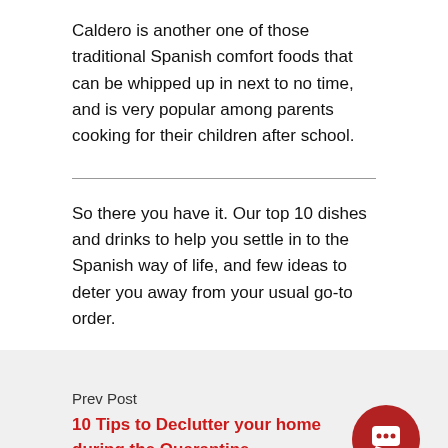Caldero is another one of those traditional Spanish comfort foods that can be whipped up in next to no time, and is very popular among parents cooking for their children after school.
So there you have it. Our top 10 dishes and drinks to help you settle in to the Spanish way of life, and few ideas to deter you away from your usual go-to order.
Prev Post
10 Tips to Declutter your home during the Quarantine